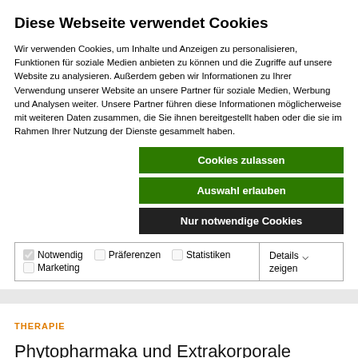Diese Webseite verwendet Cookies
Wir verwenden Cookies, um Inhalte und Anzeigen zu personalisieren, Funktionen für soziale Medien anbieten zu können und die Zugriffe auf unsere Website zu analysieren. Außerdem geben wir Informationen zu Ihrer Verwendung unserer Website an unsere Partner für soziale Medien, Werbung und Analysen weiter. Unsere Partner führen diese Informationen möglicherweise mit weiteren Daten zusammen, die Sie ihnen bereitgestellt haben oder die sie im Rahmen Ihrer Nutzung der Dienste gesammelt haben.
Cookies zulassen
Auswahl erlauben
Nur notwendige Cookies
| ✔ Notwendig | ☐ Präferenzen | ☐ Statistiken | Details zeigen ▾ |
| ☐ Marketing |  |  |  |
THERAPIE
Phytopharmaka und Extrakorporale Stoßwellen bei Tendinopathien